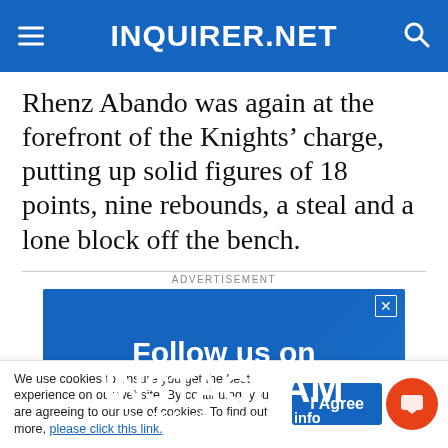INQUIRER.NET
Rhenz Abando was again at the forefront of the Knights’ charge, putting up solid figures of 18 points, nine rebounds, a steal and a lone block off the bench.
ADVERTISEMENT
[Figure (screenshot): Advertisement banner: 'Follow us on INSTAGRAM for Philippine news and info' on a blue background with device images at the bottom. Inquirer.net Instagram promotion.]
We use cookies to ensure you get the best experience on our website. By continuing, you are agreeing to our use of cookies. To find out more, please click this link.